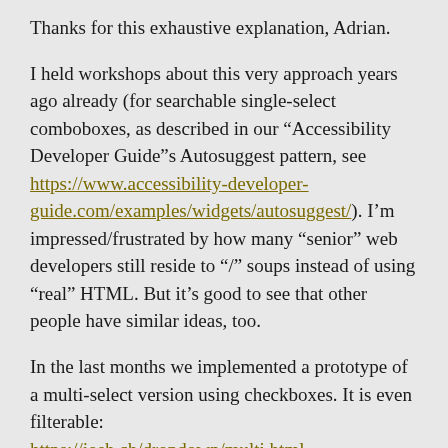Thanks for this exhaustive explanation, Adrian.
I held workshops about this very approach years ago already (for searchable single-select comboboxes, as described in our “Accessibility Developer Guide”s Autosuggest pattern, see https://www.accessibility-developer-guide.com/examples/widgets/autosuggest/). I’m impressed/frustrated by how many “senior” web developers still reside to “/” soups instead of using “real” HTML. But it’s good to see that other people have similar ideas, too.
In the last months we implemented a prototype of a multi-select version using checkboxes. It is even filterable: https://josh.ch/dropdown/multi.html
Let me know what you think about it. We are currently in the process of implementing it as a reusable web